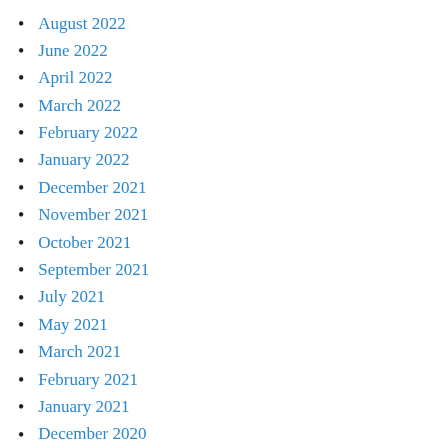August 2022
June 2022
April 2022
March 2022
February 2022
January 2022
December 2021
November 2021
October 2021
September 2021
July 2021
May 2021
March 2021
February 2021
January 2021
December 2020